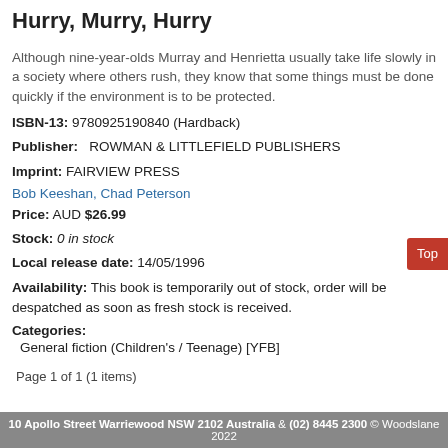Hurry, Murry, Hurry
Although nine-year-olds Murray and Henrietta usually take life slowly in a society where others rush, they know that some things must be done quickly if the environment is to be protected.
ISBN-13: 9780925190840 (Hardback)
Publisher: ROWMAN & LITTLEFIELD PUBLISHERS
Imprint: FAIRVIEW PRESS
Bob Keeshan, Chad Peterson
Price: AUD $26.99
Stock: 0 in stock
Local release date: 14/05/1996
Availability: This book is temporarily out of stock, order will be despatched as soon as fresh stock is received.
Categories:
General fiction (Children's / Teenage) [YFB]
Page 1 of 1 (1 items)
10 Apollo Street Warriewood NSW 2102 Australia & (02) 8445 2300 © Woodslane 2022